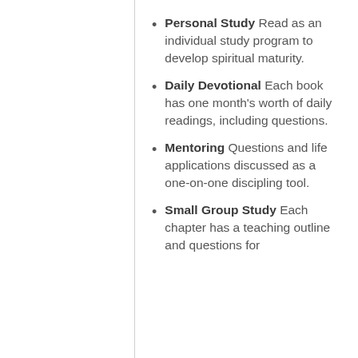Personal Study Read as an individual study program to develop spiritual maturity.
Daily Devotional Each book has one month's worth of daily readings, including questions.
Mentoring Questions and life applications discussed as a one-on-one discipling tool.
Small Group Study Each chapter has a teaching outline and questions for